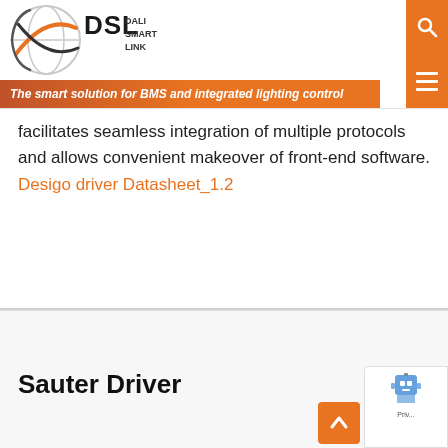[Figure (logo): DSL Dali Smart Link logo with orange/black globe graphic]
The smart solution for BMS and integrated lighting control
facilitates seamless integration of multiple protocols and allows convenient makeover of front-end software. Desigo driver Datasheet_1.2
Sauter Driver
[Figure (logo): reCAPTCHA badge with robot icon and privacy/terms text]